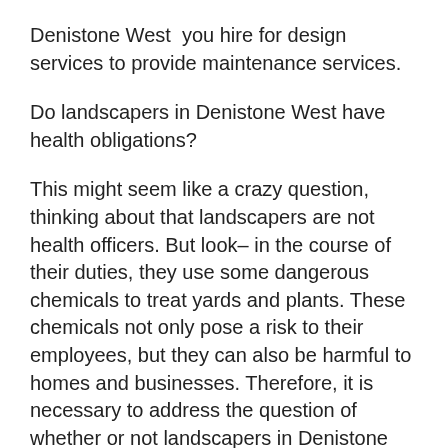Denistone West  you hire for design services to provide maintenance services.
Do landscapers in Denistone West have health obligations?
This might seem like a crazy question, thinking about that landscapers are not health officers. But look– in the course of their duties, they use some dangerous chemicals to treat yards and plants. These chemicals not only pose a risk to their employees, but they can also be harmful to homes and businesses. Therefore, it is necessary to address the question of whether or not landscapers in Denistone West have health obligations.